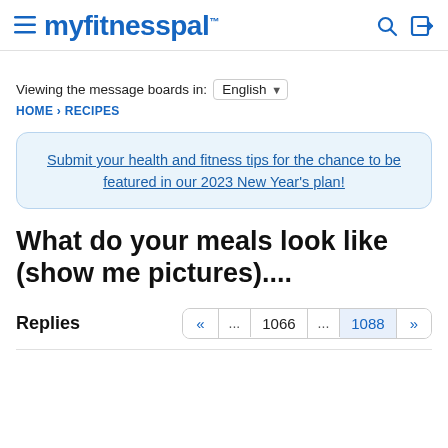myfitnesspal
Viewing the message boards in: English
HOME › RECIPES
Submit your health and fitness tips for the chance to be featured in our 2023 New Year's plan!
What do your meals look like (show me pictures)....
Replies
« ... 1066 ... 1088 »